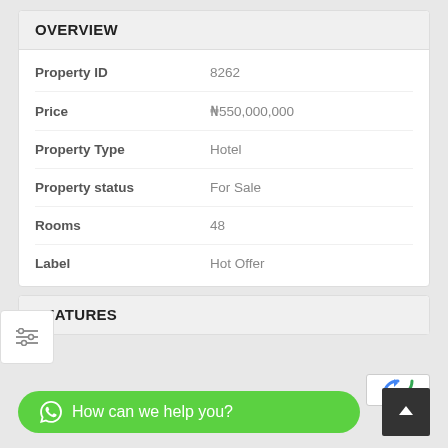OVERVIEW
| Property | Value |
| --- | --- |
| Property ID | 8262 |
| Price | ₦550,000,000 |
| Property Type | Hotel |
| Property status | For Sale |
| Rooms | 48 |
| Label | Hot Offer |
FEATURES
How can we help you?